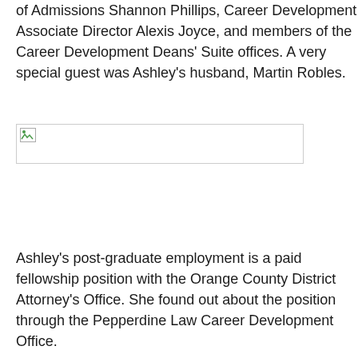of Admissions Shannon Phillips, Career Development Associate Director Alexis Joyce, and members of the Career Development Deans' Suite offices. A very special guest was Ashley's husband, Martin Robles.
[Figure (photo): Broken/missing image placeholder]
Ashley's post-graduate employment is a paid fellowship position with the Orange County District Attorney's Office. She found out about the position through the Pepperdine Law Career Development Office.